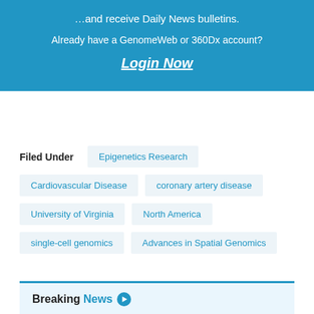…and receive Daily News bulletins.
Already have a GenomeWeb or 360Dx account?
Login Now
Filed Under
Epigenetics Research
Cardiovascular Disease
coronary artery disease
University of Virginia
North America
single-cell genomics
Advances in Spatial Genomics
Breaking News